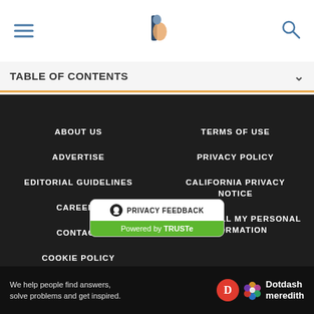TABLE OF CONTENTS
ABOUT US
TERMS OF USE
ADVERTISE
PRIVACY POLICY
EDITORIAL GUIDELINES
CALIFORNIA PRIVACY NOTICE
CAREERS
DO NOT SELL MY PERSONAL INFORMATION
CONTACT
COOKIE POLICY
[Figure (logo): Privacy Feedback badge powered by TRUSTe]
We help people find answers, solve problems and get inspired. Dotdash meredith